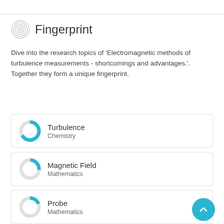Fingerprint
Dive into the research topics of 'Electromagnetic methods of turbulence measurements - shortcomings and advantages.'. Together they form a unique fingerprint.
Turbulence
Chemistry
Magnetic Field
Mathematics
Probe
Mathematics
Magnetic fields